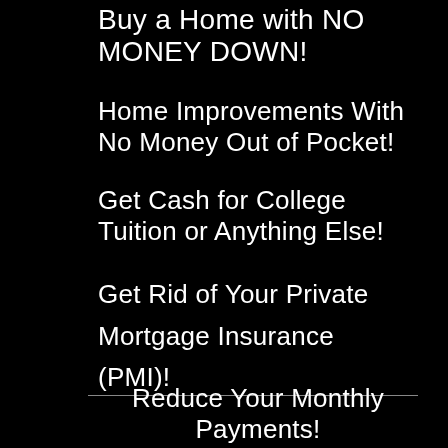Buy a Home with NO MONEY DOWN!
Home Improvements With No Money Out of Pocket!
Get Cash for College Tuition or Anything Else!
Get Rid of Your Private Mortgage Insurance (PMI)!
Reduce Your Monthly Payments!